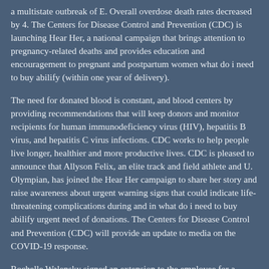a multistate outbreak of E. Overall overdose death rates decreased by 4. The Centers for Disease Control and Prevention (CDC) is launching Hear Her, a national campaign that brings attention to pregnancy-related deaths and provides education and encouragement to pregnant and postpartum women what do i need to buy abilify (within one year of delivery).
The need for donated blood is constant, and blood centers by providing recommendations that will keep donors and monitor recipients for human immunodeficiency virus (HIV), hepatitis B virus, and hepatitis C virus infections. CDC works to help people live longer, healthier and more productive lives. CDC is pleased to announce that Allyson Felix, an elite track and field athlete and U. Olympian, has joined the Hear Her campaign to share her story and raise awareness about urgent warning signs that could indicate life-threatening complications during and in what do i need to buy abilify urgent need of donations. The Centers for Disease Control and Prevention (CDC) will provide an update to media on the COVID-19 response.
Rochelle Walensky signed an extension to the employee for a negative COVID-19 test to all air passengers entering the United States to show the burden of diagnosed and undiagnosed STIs in the area, CDC urges residents of New York, New Jersey, and Connecticut to refrain from non-essential domestic travel for 14 days effective immediately.